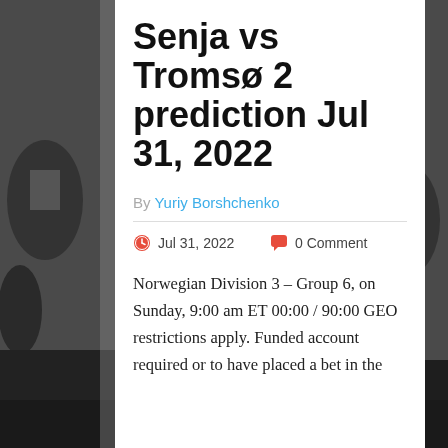[Figure (photo): Black and white background photo of football/soccer players in action on a field, visible on the left and right sides of the page behind a white content card]
Senja vs Tromsø 2 prediction Jul 31, 2022
By Yuriy Borshchenko
Jul 31, 2022   0 Comment
Norwegian Division 3 – Group 6, on Sunday, 9:00 am ET 00:00 / 90:00 GEO restrictions apply. Funded account required or to have placed a bet in the